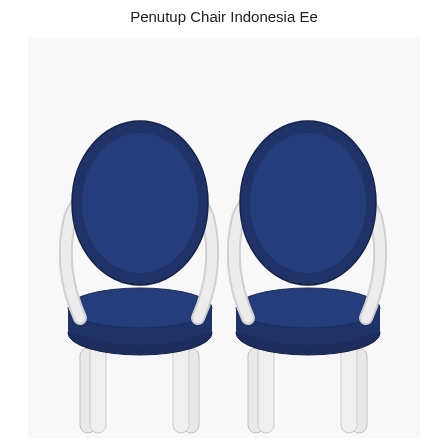Penutup Chair Indonesia Ee
[Figure (photo): Two navy blue upholstered armchairs with clear acrylic/lucite curved arms and legs, shown side by side on a white background. The chairs have rounded oval backrests and cushioned seats in deep navy blue fabric, with transparent cylindrical acrylic legs and arched armrests.]